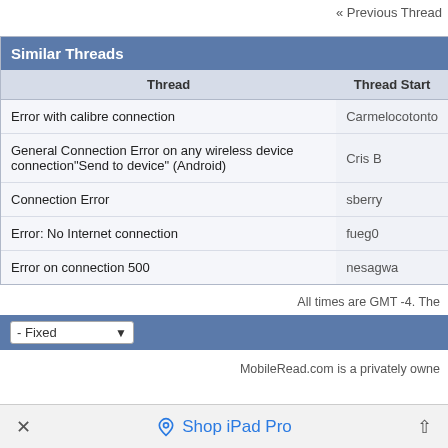« Previous Thread
| Thread | Thread Start |
| --- | --- |
| Error with calibre connection | Carmelocotonto |
| General Connection Error on any wireless device connection"Send to device" (Android) | Cris B |
| Connection Error | sberry |
| Error: No Internet connection | fueg0 |
| Error on connection 500 | nesagwa |
All times are GMT -4. The
MobileRead.com is a privately owne